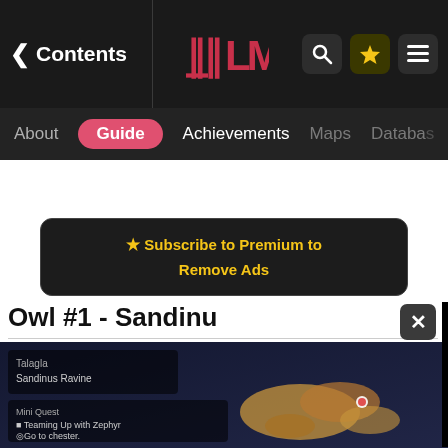Contents | [Logo] | Search | Star | Menu
About | Guide | Achievements | Maps | Database
★ Subscribe to Premium to Remove Ads
Owl #1 - Sandinu...
[Figure (screenshot): Game map screenshot showing Talagla / Sandinus Ravine location with Mini Quest: Teaming Up with Zephyr, Go to chester. Map view with terrain and character marker.]